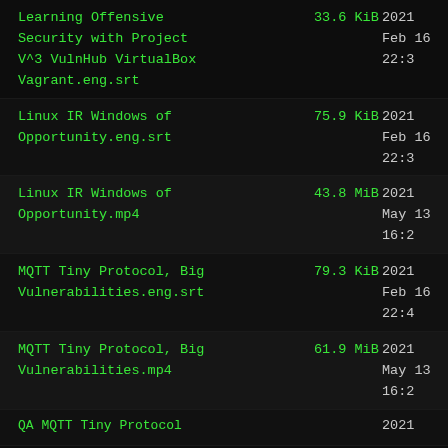Learning Offensive Security with Project V^3 VulnHub VirtualBox Vagrant.eng.srt | 33.6 KiB | 2021 Feb 16 22:3
Linux IR Windows of Opportunity.eng.srt | 75.9 KiB | 2021 Feb 16 22:3
Linux IR Windows of Opportunity.mp4 | 43.8 MiB | 2021 May 13 16:2
MQTT Tiny Protocol, Big Vulnerabilities.eng.srt | 79.3 KiB | 2021 Feb 16 22:4
MQTT Tiny Protocol, Big Vulnerabilities.mp4 | 61.9 MiB | 2021 May 13 16:2
QA MQTT Tiny Protocol... | 2021